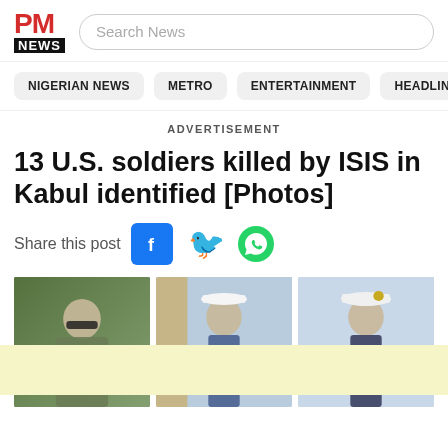PM NEWS
Search News
NIGERIAN NEWS
METRO
ENTERTAINMENT
HEADLIN
ADVERTISEMENT
13 U.S. soldiers killed by ISIS in Kabul identified [Photos]
Share this post
[Figure (photo): Three photos of U.S. soldiers killed by ISIS in Kabul, with a yellow advertisement overlay in the lower portion]